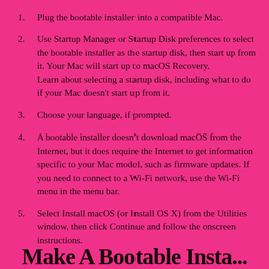1. Plug the bootable installer into a compatible Mac.
2. Use Startup Manager or Startup Disk preferences to select the bootable installer as the startup disk, then start up from it. Your Mac will start up to macOS Recovery.
Learn about selecting a startup disk, including what to do if your Mac doesn't start up from it.
3. Choose your language, if prompted.
4. A bootable installer doesn't download macOS from the Internet, but it does require the Internet to get information specific to your Mac model, such as firmware updates. If you need to connect to a Wi-Fi network, use the Wi-Fi menu in the menu bar.
5. Select Install macOS (or Install OS X) from the Utilities window, then click Continue and follow the onscreen instructions.
Make A Bootable Insta...